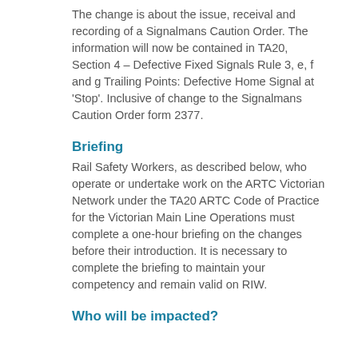The change is about the issue, receival and recording of a Signalmans Caution Order. The information will now be contained in TA20, Section 4 – Defective Fixed Signals Rule 3, e, f and g Trailing Points: Defective Home Signal at 'Stop'. Inclusive of change to the Signalmans Caution Order form 2377.
Briefing
Rail Safety Workers, as described below, who operate or undertake work on the ARTC Victorian Network under the TA20 ARTC Code of Practice for the Victorian Main Line Operations must complete a one-hour briefing on the changes before their introduction. It is necessary to complete the briefing to maintain your competency and remain valid on RIW.
Who will be impacted?